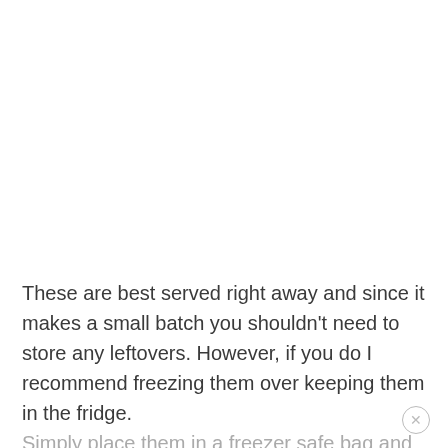These are best served right away and since it makes a small batch you shouldn’t need to store any leftovers. However, if you do I recommend freezing them over keeping them in the fridge. Simply place them in a freezer safe bag and freeze